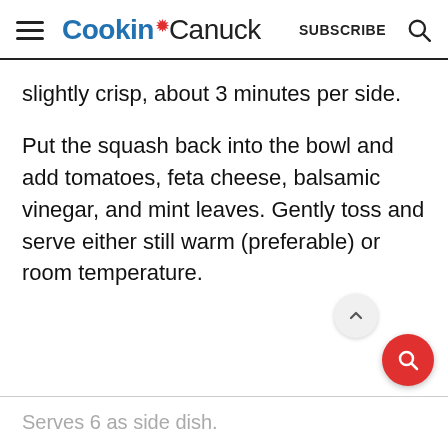Cookin' Canuck — SUBSCRIBE
slightly crisp, about 3 minutes per side.
Put the squash back into the bowl and add tomatoes, feta cheese, balsamic vinegar, and mint leaves. Gently toss and serve either still warm (preferable) or room temperature.
Serves 6 as side dish.